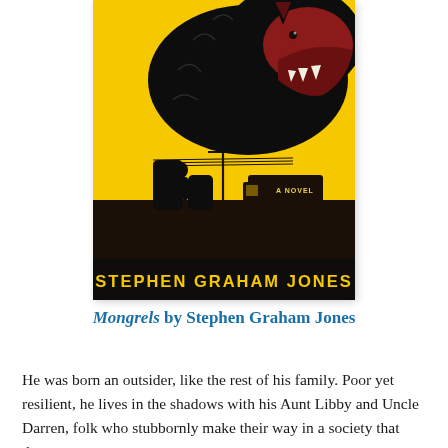[Figure (illustration): Book cover of 'Mongrels' by Stephen Graham Jones. Yellow background with a large black wolf with a red face snarling. A small human silhouette stands in front of the wolf. Text reads 'A Novel' and 'STEPHEN GRAHAM JONES' at the bottom.]
Mongrels by Stephen Graham Jones
He was born an outsider, like the rest of his family. Poor yet resilient, he lives in the shadows with his Aunt Libby and Uncle Darren, folk who stubbornly make their way in a society that does